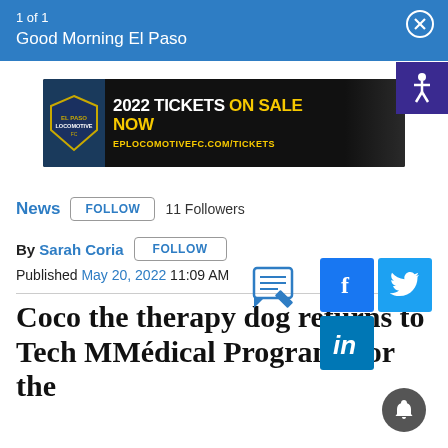1 of 1
Good Morning El Paso
[Figure (screenshot): El Paso Locomotive FC advertisement banner: '2022 TICKETS ON SALE NOW' with EPLOCOMOTIVEFC.COM/TICKETS URL and logo]
News  FOLLOW  11 Followers
By Sarah Coria  FOLLOW
Published May 20, 2022  11:09 AM
[Figure (illustration): Comment/edit icon (pencil on notepad)]
[Figure (illustration): Social share icons: Facebook, Twitter, LinkedIn]
Coco the therapy dog returns to Tech MMAu clinical Programs for the